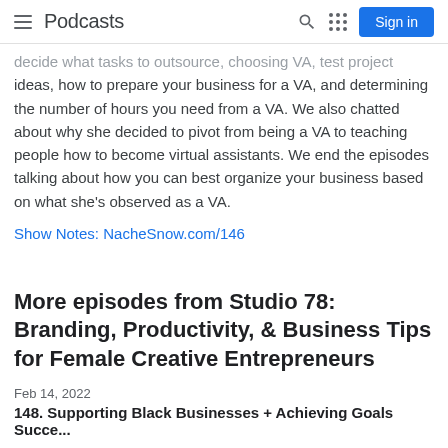Podcasts
decide what tasks to outsource, choosing VA, test project ideas, how to prepare your business for a VA, and determining the number of hours you need from a VA. We also chatted about why she decided to pivot from being a VA to teaching people how to become virtual assistants. We end the episodes talking about how you can best organize your business based on what she's observed as a VA.
Show Notes: NacheSnow.com/146
More episodes from Studio 78: Branding, Productivity, & Business Tips for Female Creative Entrepreneurs
Feb 14, 2022
148. Supporting Black Businesses + Achieving Goals Succe...
Photographer LaKaye Mbah and I share resources and chat about the importance of building supportive ecosystems for...